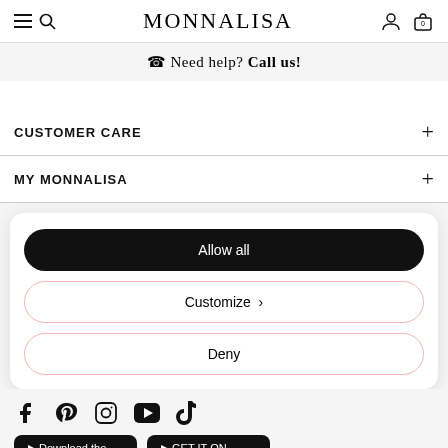MONNALISA
Need help? Call us!
CUSTOMER CARE
MY MONNALISA
Allow all
Customize
Deny
[Figure (other): Social media icons: Facebook, Pinterest, Instagram, YouTube, TikTok]
Download the app / GET IT ON